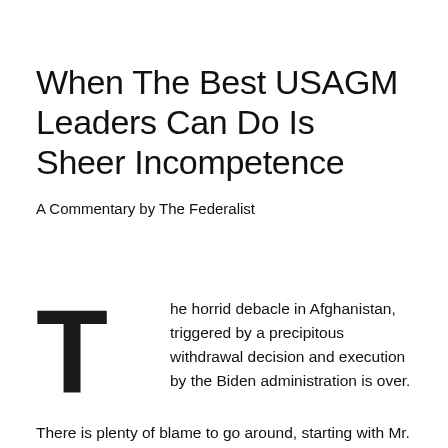When The Best USAGM Leaders Can Do Is Sheer Incompetence
A Commentary by The Federalist
The horrid debacle in Afghanistan, triggered by a precipitous withdrawal decision and execution by the Biden administration is over.

There is plenty of blame to go around, starting with Mr. Biden himself for his intractable and inflexible